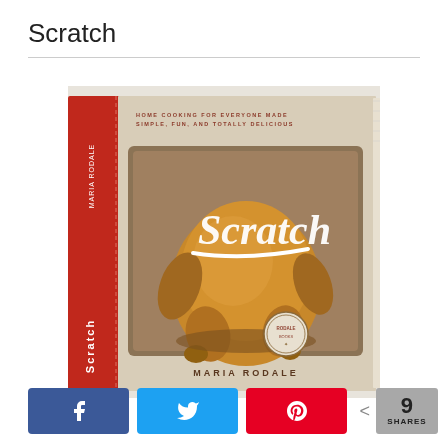Scratch
[Figure (photo): Book cover of 'Scratch' by Maria Rodale — a cookbook showing a roasted chicken in a metal roasting pan on the cover with a red spine, white script title 'Scratch', and subtitle 'Home Cooking for Everyone Made Simple, Fun, and Totally Delicious']
k Share  t Tweet  A Pin  < 9 SHARES